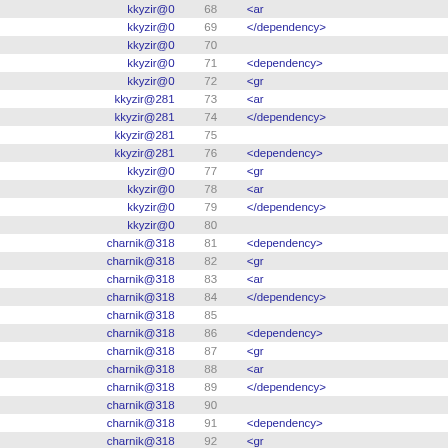| author | line | code |
| --- | --- | --- |
| kkyzir@0 | 68 | <ar |
| kkyzir@0 | 69 | </dependency> |
| kkyzir@0 | 70 |  |
| kkyzir@0 | 71 | <dependency> |
| kkyzir@0 | 72 | <gr |
| kkyzir@281 | 73 | <ar |
| kkyzir@281 | 74 | </dependency> |
| kkyzir@281 | 75 |  |
| kkyzir@281 | 76 | <dependency> |
| kkyzir@0 | 77 | <gr |
| kkyzir@0 | 78 | <ar |
| kkyzir@0 | 79 | </dependency> |
| kkyzir@0 | 80 |  |
| charnik@318 | 81 | <dependency> |
| charnik@318 | 82 | <gr |
| charnik@318 | 83 | <ar |
| charnik@318 | 84 | </dependency> |
| charnik@318 | 85 |  |
| charnik@318 | 86 | <dependency> |
| charnik@318 | 87 | <gr |
| charnik@318 | 88 | <ar |
| charnik@318 | 89 | </dependency> |
| charnik@318 | 90 |  |
| charnik@318 | 91 | <dependency> |
| charnik@318 | 92 | <gr |
| charnik@318 | 93 | <ar |
| charnik@318 | 94 | </dependency> |
| charnik@318 | 95 |  |